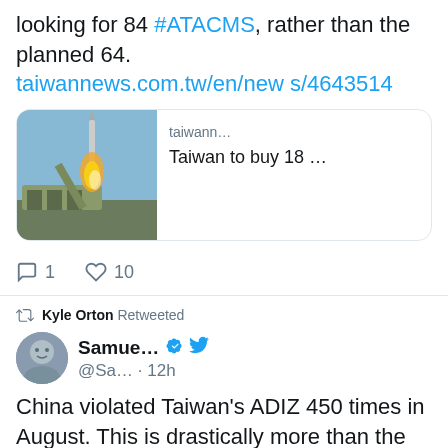looking for 84 #ATACMS, rather than the planned 64. taiwannews.com.tw/en/news/4643514
[Figure (screenshot): Link preview card showing a missile launch image with text 'taiwann...' and 'Taiwan to buy 18 ...']
1  10 (reply and like counts)
Kyle Orton Retweeted
Samue... @Sa... · 12h
China violated Taiwan's ADIZ 450 times in August. This is drastically more than the 196 violations reported in October 2021 at last year's peak of tensions.